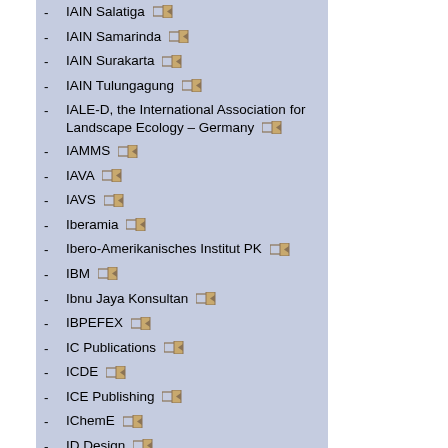IAIN Salatiga
IAIN Samarinda
IAIN Surakarta
IAIN Tulungagung
IALE-D, the International Association for Landscape Ecology – Germany
IAMMS
IAVA
IAVS
Iberamia
Ibero-Amerikanisches Institut PK
IBM
Ibnu Jaya Konsultan
IBPEFEX
IC Publications
ICDE
ICE Publishing
IChemE
ID Design
Idaho Library Association
IFEA Publish...